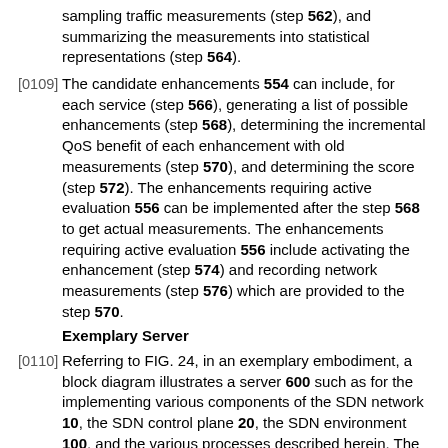sampling traffic measurements (step 562), and summarizing the measurements into statistical representations (step 564).
[0109] The candidate enhancements 554 can include, for each service (step 566), generating a list of possible enhancements (step 568), determining the incremental QoS benefit of each enhancement with old measurements (step 570), and determining the score (step 572). The enhancements requiring active evaluation 556 can be implemented after the step 568 to get actual measurements. The enhancements requiring active evaluation 556 include activating the enhancement (step 574) and recording network measurements (step 576) which are provided to the step 570.
Exemplary Server
[0110] Referring to FIG. 24, in an exemplary embodiment, a block diagram illustrates a server 600 such as for the implementing various components of the SDN network 10, the SDN control plane 20, the SDN environment 100, and the various processes described herein. The server 600 can be a digital